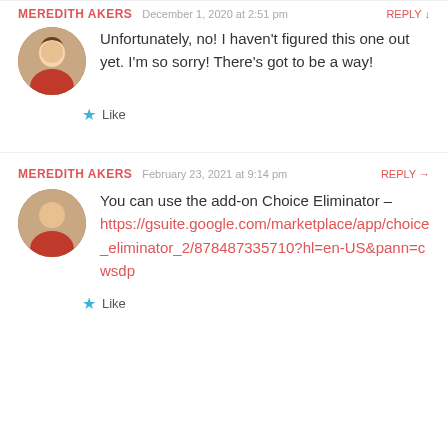MEREDITH AKERS  December 1, 2020 at 2:51 pm  REPLY
Unfortunately, no! I haven't figured this one out yet. I'm so sorry! There's got to be a way!
Like
MEREDITH AKERS  February 23, 2021 at 9:14 pm  REPLY →
You can use the add-on Choice Eliminator –
https://gsuite.google.com/marketplace/app/choice_eliminator_2/878487335710?hl=en-US&pann=cwsdp
Like